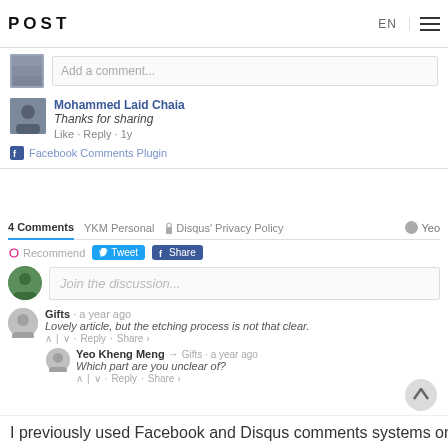POST  EN  ☰
[Figure (screenshot): Facebook comment section showing an avatar and 'Add a comment...' input field, followed by a comment from Mohammed Laid Chaia saying 'Thanks for sharing' with Like · Reply · 1y actions, and a Facebook Comments Plugin label]
[Figure (screenshot): Disqus comment section with '4 Comments', 'YKM Personal', 'Disqus Privacy Policy' bar, Recommend/Tweet/Share buttons, 'Join the discussion...' input, comment from 'Gifts a year ago' saying 'Lovely article, but the etching process is not that clear.' with reply from 'Yeo Kheng Meng → Gifts · a year ago' saying 'Which part are you unclear of?']
I previously used Facebook and Disqus comments systems on my